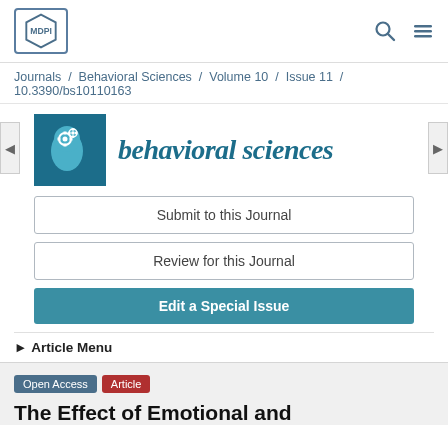[Figure (logo): MDPI logo in a hexagonal border]
Journals / Behavioral Sciences / Volume 10 / Issue 11 / 10.3390/bs10110163
[Figure (logo): Behavioral Sciences journal icon showing a head with gears, teal background]
behavioral sciences
Submit to this Journal
Review for this Journal
Edit a Special Issue
► Article Menu
Open Access  Article
The Effect of Emotional and